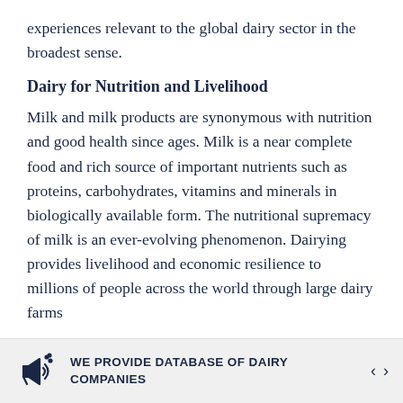experiences relevant to the global dairy sector in the broadest sense.
Dairy for Nutrition and Livelihood
Milk and milk products are synonymous with nutrition and good health since ages. Milk is a near complete food and rich source of important nutrients such as proteins, carbohydrates, vitamins and minerals in biologically available form. The nutritional supremacy of milk is an ever-evolving phenomenon. Dairying provides livelihood and economic resilience to millions of people across the world through large dairy farms
WE PROVIDE DATABASE OF DAIRY COMPANIES